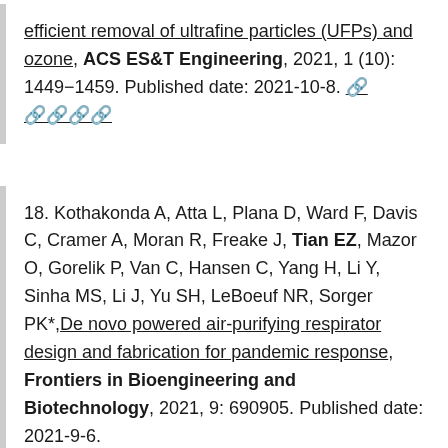efficient removal of ultrafine particles (UFPs) and ozone, ACS ES&T Engineering, 2021, 1 (10): 1449−1459. Published date: 2021-10-8. [link]
18. Kothakonda A, Atta L, Plana D, Ward F, Davis C, Cramer A, Moran R, Freake J, Tian EZ, Mazor O, Gorelik P, Van C, Hansen C, Yang H, Li Y, Sinha MS, Li J, Yu SH, LeBoeuf NR, Sorger PK*,De novo powered air-purifying respirator design and fabrication for pandemic response, Frontiers in Bioengineering and Biotechnology, 2021, 9: 690905. Published date: 2021-9-6.